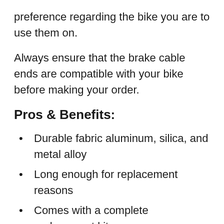preference regarding the bike you are to use them on.
Always ensure that the brake cable ends are compatible with your bike before making your order.
Pros & Benefits:
Durable fabric aluminum, silica, and metal alloy
Long enough for replacement reasons
Comes with a complete replacement kit
Has donuts that keep the cable from